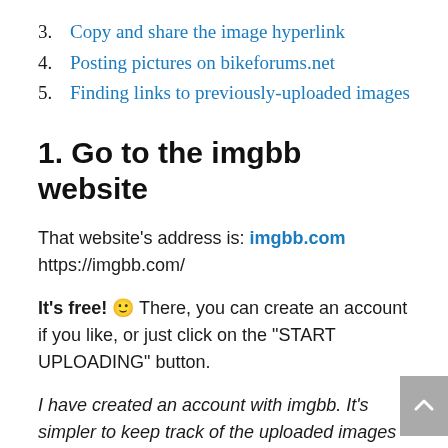3. Copy and share the image hyperlink
4. Posting pictures on bikeforums.net
5. Finding links to previously-uploaded images
1. Go to the imgbb website
That website's address is: imgbb.com
https://imgbb.com/
It's free! 🙂 There, you can create an account if you like, or just click on the “START UPLOADING” button.
I have created an account with imgbb. It’s simpler to keep track of the uploaded images that way. Account creation is simpler than signing up for a Gmail account and I won’t be explaining how to do that here. Also – you don’t have to create an